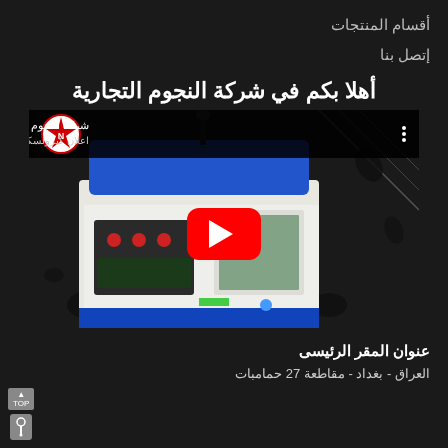أقسام المنتجات
إتصل بنا
أهلا بكم في شركة النجوم التجارية
[Figure (screenshot): YouTube video thumbnail showing a woodworking or industrial machine (CNC/edge banding machine) with blue and white body, control panel, on a dark background with scattered dark shapes. Channel: شركة النجوم التجارية, Video title: اعلان كيرولسكار2]
عنوان المقر الرئيسى
العراق - بغداد - مقاطعة 27 حمامبات